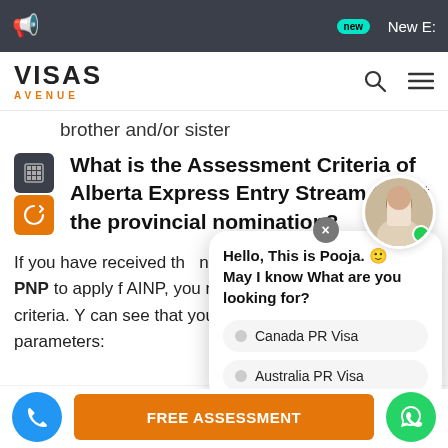new  New E:
[Figure (screenshot): Visas Avenue website navigation bar with logo, search and menu icons]
brother and/or sister
What is the Assessment Criteria of Alberta Express Entry Stream to get the provincial nomination?
If you have received the notification from the Alberta PNP to apply for AINP, you need to make sure about the assessment criteria. You can see that you are meeting the below parameters:
[Figure (screenshot): Chat popup from Pooja saying Hello, This is Pooja. May I know What are you looking for? with options Canada PR Visa and Australia PR Visa]
FREE ASSESSMENT